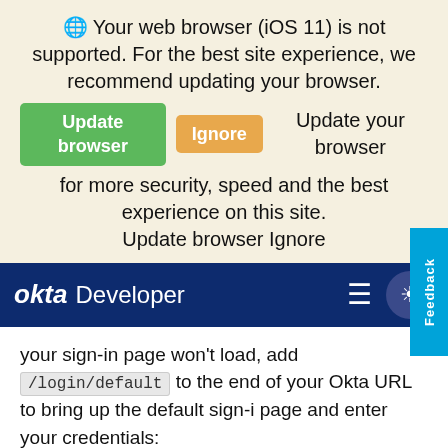🌐 Your web browser (iOS 11) is not supported. For the best site experience, we recommend updating your browser.
[Update browser] [Ignore] Update your browser for more security, speed and the best experience on this site.
Update browser Ignore
[Figure (screenshot): Okta Developer navigation bar with logo, hamburger menu, and theme toggle button]
your sign-in page won't load, add /login/default to the end of your Okta URL to bring up the default sign-in page and enter your credentials:
https://${yourOktaDomain}/login/default
This URL only bypasses changes that you have made to the HTML in the HTML editor. It doesn't bypass